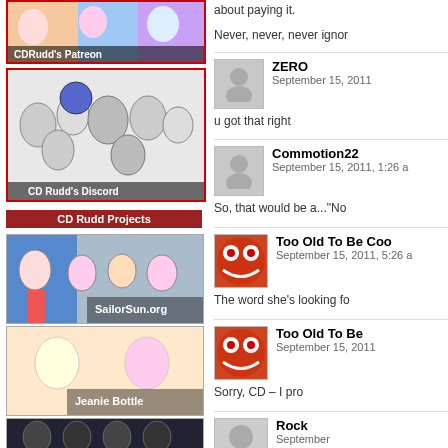[Figure (illustration): CDRudd's Patreon banner with colorful anime-style characters]
[Figure (illustration): CD Rudd's Discord banner with black and white sketch of many characters]
CD Rudd Projects
[Figure (illustration): SailorSun.org banner with colorful characters]
[Figure (illustration): Jeanie Bottle banner with two characters]
[Figure (illustration): Another project banner, dark background with characters]
about paying it.
Never, never, never ignor
ZERO
September 15, 2011
u got that right
Commotion22
September 15, 2011, 1:26 a
So, that would be a..."No
Too Old To Be Coo
September 15, 2011, 5:26 a
The word she's looking fo
Too Old To Be
September 15, 2011
Sorry, CD – I pro
Rock
September